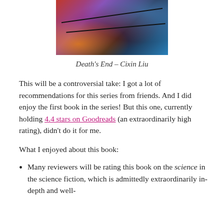[Figure (photo): Book cover image of Death's End by Cixin Liu, showing dark cosmic imagery with fire and space elements]
Death's End – Cixin Liu
This will be a controversial take: I got a lot of recommendations for this series from friends. And I did enjoy the first book in the series! But this one, currently holding 4.4 stars on Goodreads (an extraordinarily high rating), didn't do it for me.
What I enjoyed about this book:
Many reviewers will be rating this book on the science in the science fiction, which is admittedly extraordinarily in-depth and well-